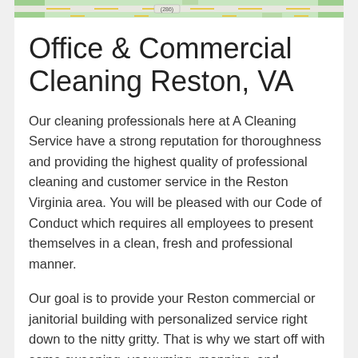[Figure (map): Partial view of a map strip showing road markings and green areas, with a label '(286)' visible.]
Office & Commercial Cleaning Reston, VA
Our cleaning professionals here at A Cleaning Service have a strong reputation for thoroughness and providing the highest quality of professional cleaning and customer service in the Reston Virginia area. You will be pleased with our Code of Conduct which requires all employees to present themselves in a clean, fresh and professional manner.
Our goal is to provide your Reston commercial or janitorial building with personalized service right down to the nitty gritty. That is why we start off with some sweeping, vacuuming, mopping, and